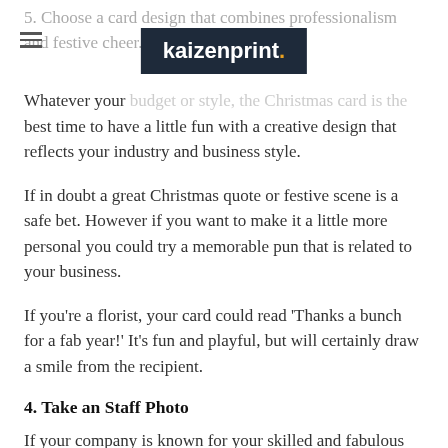5. Choose a card design that combines professionalism and festive cheer.
[Figure (logo): kaizenprint. logo — white bold text on dark navy background with orange period]
Whatever your budget or style, the Christmas card is the best time to have a little fun with a creative design that reflects your industry and business style.
If in doubt a great Christmas quote or festive scene is a safe bet. However if you want to make it a little more personal you could try a memorable pun that is related to your business.
If you're a florist, your card could read 'Thanks a bunch for a fab year!' It's fun and playful, but will certainly draw a smile from the recipient.
4. Take an Staff Photo
If your company is known for your skilled and fabulous team, then think about taking a fun office photo that captures your